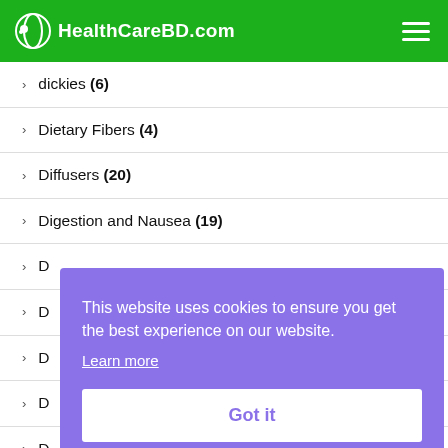HealthCareBD.com
dickies (6)
Dietary Fibers (4)
Diffusers (20)
Digestion and Nausea (19)
D...
D...
D...
D...
D...
This website uses cookies to ensure you get the best experience on our website. Learn more Got it
Drain Pouches (118)